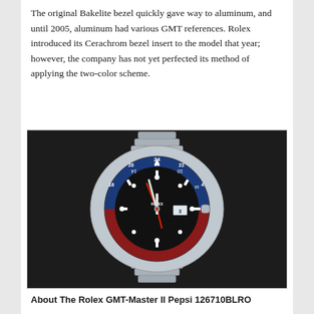The original Bakelite bezel quickly gave way to aluminum, and until 2005, aluminum had various GMT references. Rolex introduced its Cerachrom bezel insert to the model that year; however, the company has not yet perfected its method of applying the two-color scheme.
[Figure (photo): A Rolex GMT-Master II Pepsi 126710BLRO watch with blue and red ceramic bezel on a jubilee bracelet, photographed on a dark leather background.]
About The Rolex GMT-Master II Pepsi 126710BLRO